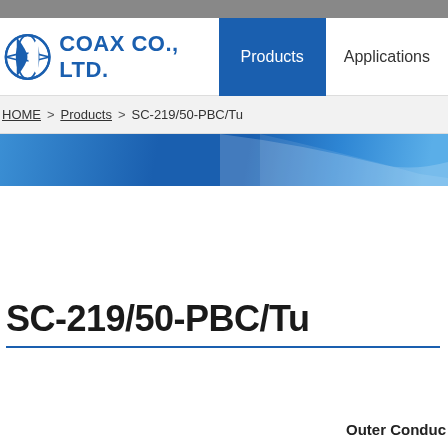COAX CO., LTD. | Products | Applications
HOME > Products > SC-219/50-PBC/Tu
SC-219/50-PBC/Tu
Outer Conduc